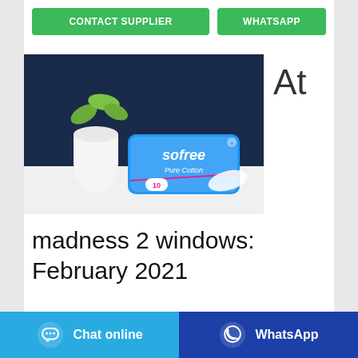[Figure (screenshot): Two green buttons: CONTACT SUPPLIER and WHATSAPP]
[Figure (photo): Product photo of Sofree Pure Cotton sanitary pads (blue packaging, count 10) on a white surface with a vase and plant in the background]
At
madness 2 windows: February 2021
Feb 07, 2021 Where mason salva beach review 2005
[Figure (screenshot): Bottom bar with Chat online button (blue) and WhatsApp button (dark blue)]